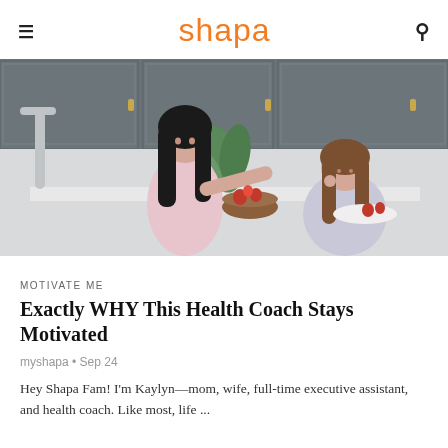shapa
[Figure (photo): A woman with dark hair in a pink sleeveless dress feeding a young girl with long brown hair in a kitchen setting, with bowls of strawberries and desserts on the counter. Dark gray cabinetry with gold hardware in the background.]
MOTIVATE ME
Exactly WHY This Health Coach Stays Motivated
myshapa • Sep 24
Hey Shapa Fam! I'm Kaylyn—mom, wife, full-time executive assistant, and health coach. Like most, life ...